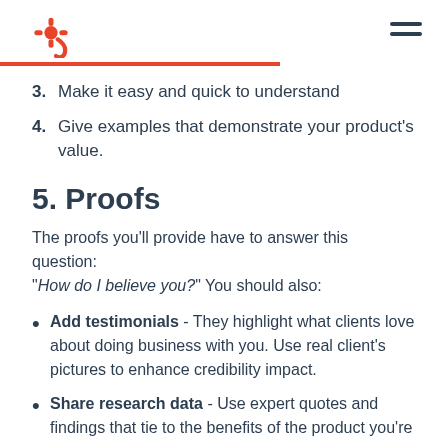HubSpot logo and navigation menu
3. Make it easy and quick to understand
4. Give examples that demonstrate your product's value.
5. Proofs
The proofs you'll provide have to answer this question: "How do I believe you?" You should also:
Add testimonials - They highlight what clients love about doing business with you. Use real client's pictures to enhance credibility impact.
Share research data - Use expert quotes and findings that tie to the benefits of the product you're